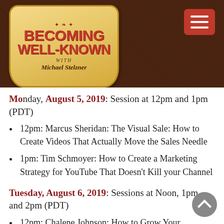[Figure (logo): Becoming Well-Known with Michael Stelzner podcast logo badge on dark brown textured header bar with menu button]
Monday, August 5, 2019: Session at 12pm and 1pm (PDT)
12pm: Marcus Sheridan: The Visual Sale: How to Create Videos That Actually Move the Sales Needle
1pm: Tim Schmoyer: How to Create a Marketing Strategy for YouTube That Doesn't Kill your Channel
Tuesday, August 6, 2019: Sessions at Noon, 1pm, and 2pm (PDT)
12pm: Chalene Johnson: How to Grow Your